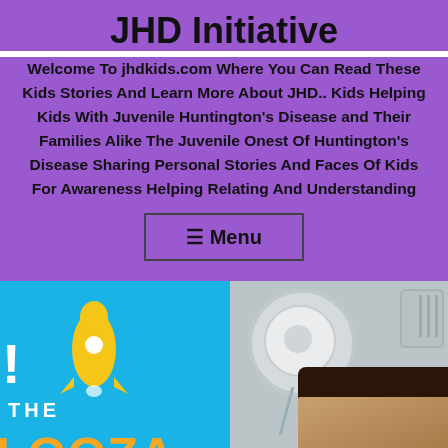JHD Initiative
Welcome To jhdkids.com Where You Can Read These Kids Stories And Learn More About JHD.. Kids Helping Kids With Juvenile Huntington's Disease and Their Families Alike The Juvenile Onest Of Huntington's Disease Sharing Personal Stories And Faces Of Kids For Awareness Helping Relating And Understanding
≡ Menu
[Figure (screenshot): Split image: left side shows a bright blue background with a yellow rocket graphic, exclamation mark, the word THE, and partial text LOOZA in orange. Right side shows a photo of a fan/appliance and a person's face with dark hair.]
Follow ...